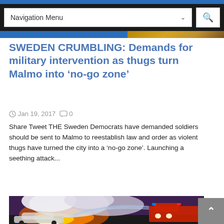Navigation Menu
SWEDEN CRUMBLING: Demands for military intervention as thugs turn Malmo into ‘no-go zone’
Jan 19, 2017  0
Share Tweet THE Sweden Democrats have demanded soldiers should be sent to Malmo to reestablish law and order as violent thugs have turned the city into a ‘no-go zone’. Launching a seething attack...
[Figure (photo): Photo of a fire truck spraying water on a burning car at night, with large clouds of smoke and bright flames visible on a road]